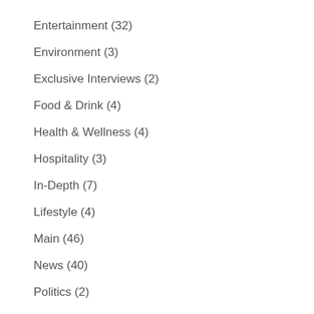Entertainment (32)
Environment (3)
Exclusive Interviews (2)
Food & Drink (4)
Health & Wellness (4)
Hospitality (3)
In-Depth (7)
Lifestyle (4)
Main (46)
News (40)
Politics (2)
Science (1)